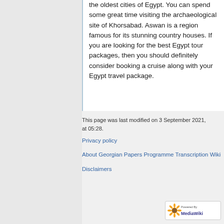the oldest cities of Egypt. You can spend some great time visiting the archaeological site of Khorsabad. Aswan is a region famous for its stunning country houses. If you are looking for the best Egypt tour packages, then you should definitely consider booking a cruise along with your Egypt travel package.
This page was last modified on 3 September 2021, at 05:28.
Privacy policy
About Georgian Papers Programme Transcription Wiki
Disclaimers